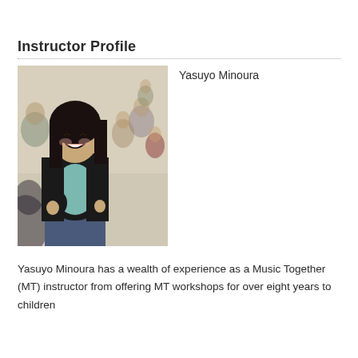Instructor Profile
[Figure (photo): Photo of Yasuyo Minoura, a female Music Together instructor, sitting on the floor smiling and engaging with children in a classroom setting.]
Yasuyo Minoura
Yasuyo Minoura has a wealth of experience as a Music Together (MT) instructor from offering MT workshops for over eight years to children